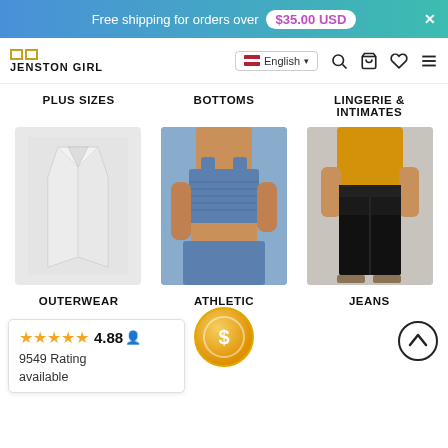Free shipping for orders over $35.00 USD
[Figure (screenshot): Jenston Girl e-commerce website navigation bar with logo, language selector, search, cart, heart, and menu icons]
PLUS SIZES
BOTTOMS
LINGERIE & INTIMATES
[Figure (photo): White blazer/outerwear jacket on light grey background]
[Figure (photo): Woman wearing blue athletic crop top and matching bottoms]
[Figure (photo): Woman wearing yellow top with black skinny jeans and sandals]
OUTERWEAR
ATHLETIC
JEANS
4.88 ★★★★★ 9549 Rating available
[Figure (infographic): Gold coin with dollar sign icon (rewards/cashback button)]
[Figure (infographic): Scroll to top arrow button]